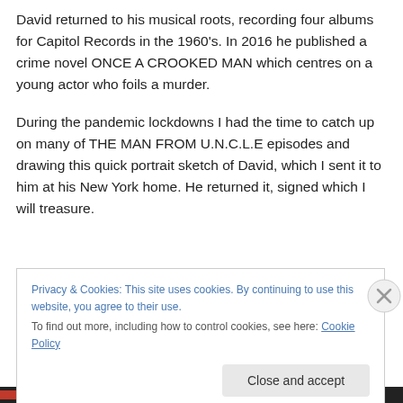David returned to his musical roots, recording four albums for Capitol Records in the 1960's. In 2016 he published a crime novel ONCE A CROOKED MAN which centres on a young actor who foils a murder.
During the pandemic lockdowns I had the time to catch up on many of THE MAN FROM U.N.C.L.E episodes and drawing this quick portrait sketch of David, which I sent it to him at his New York home. He returned it, signed which I will treasure.
Privacy & Cookies: This site uses cookies. By continuing to use this website, you agree to their use.
To find out more, including how to control cookies, see here: Cookie Policy